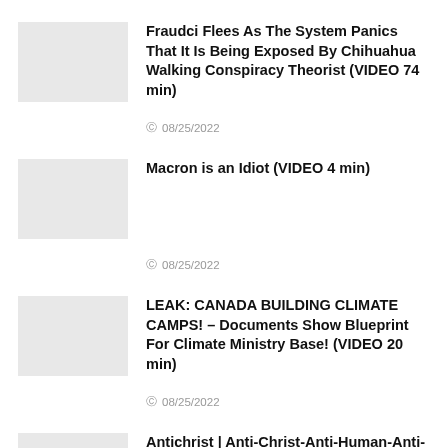[Figure (photo): Thumbnail placeholder image for first article]
Fraudci Flees As The System Panics That It Is Being Exposed By Chihuahua Walking Conspiracy Theorist (VIDEO 74 min)
08/25/2022
[Figure (photo): Thumbnail placeholder image for second article]
Macron is an Idiot (VIDEO 4 min)
08/25/2022
[Figure (photo): Thumbnail placeholder image for third article]
LEAK: CANADA BUILDING CLIMATE CAMPS! – Documents Show Blueprint For Climate Ministry Base! (VIDEO 20 min)
08/25/2022
[Figure (photo): Thumbnail placeholder image for fourth article]
Antichrist | Anti-Christ-Anti-Human-Anti-Money-Anti-Meat-Anti-Nationalist-Law-Changing-